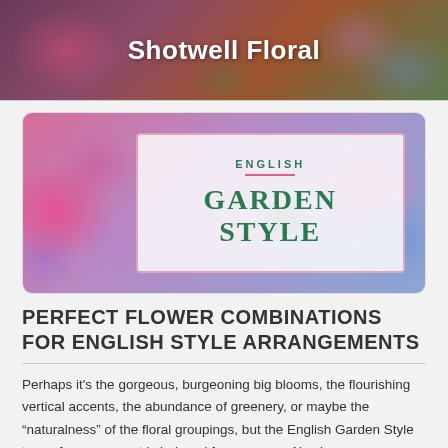Shotwell Floral
[Figure (photo): English Garden Style floral arrangement with pink roses, purple flowers, and blue hydrangeas with a centered text overlay box reading 'ENGLISH GARDEN STYLE']
PERFECT FLOWER COMBINATIONS FOR ENGLISH STYLE ARRANGEMENTS
Perhaps it's the gorgeous, burgeoning big blooms, the flourishing vertical accents, the abundance of greenery, or maybe the “naturalness” of the floral groupings, but the English Garden Style type of arrangement is beloved for a reason. Also known as Cottage Garden